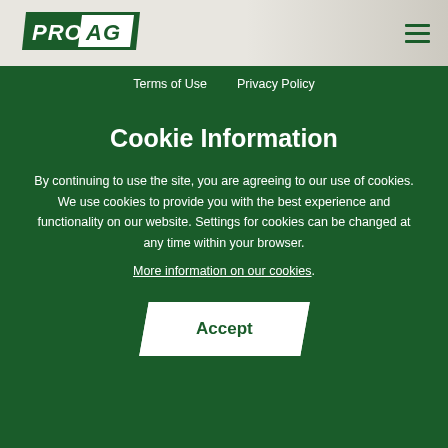[Figure (logo): PRO AG logo in green and white on grey background header]
Terms of Use   Privacy Policy
Cookie Information
By continuing to use the site, you are agreeing to our use of cookies. We use cookies to provide you with the best experience and functionality on our website. Settings for cookies can be changed at any time within your browser.
More information on our cookies.
Accept